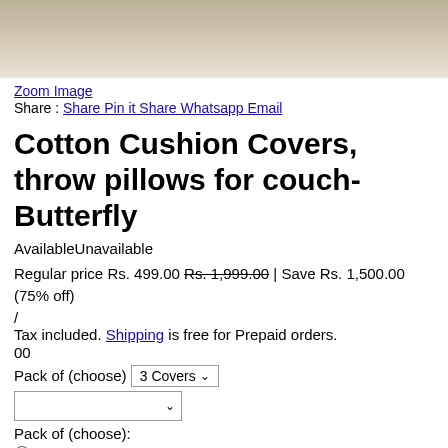[Figure (photo): Partial product image of cotton cushion covers with butterfly design, cropped at top]
Zoom Image
Share : Share Pin it Share Whatsapp Email
Cotton Cushion Covers, throw pillows for couch- Butterfly
AvailableUnavailable
Regular price Rs. 499.00 Rs. 1,999.00 | Save Rs. 1,500.00 (75% off)
/
Tax included. Shipping is free for Prepaid orders.
00
Pack of (choose) 3 Covers
Pack of (choose):
3 Covers
5 covers